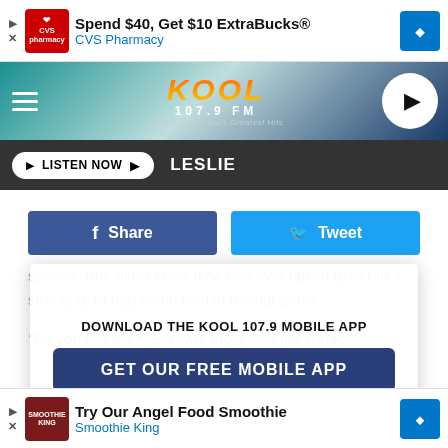[Figure (screenshot): CVS Pharmacy ad banner: Spend $40, Get $10 ExtraBucks®]
[Figure (logo): KOOL 107.9 FM radio station header with hamburger menu and play button]
LISTEN NOW ▶  LESLIE
f Share   🐦 Tweet
DOWNLOAD THE KOOL 107.9 MOBILE APP
GET OUR FREE MOBILE APP
She actually laughed at this. Then she asked him if he ever had any success with that. He said he'd let her know.
"Kiss me if I'm wrong, but dinosaurs still exist, right?"
[Figure (screenshot): Smoothie King ad banner: Try Our Angel Food Smoothie]